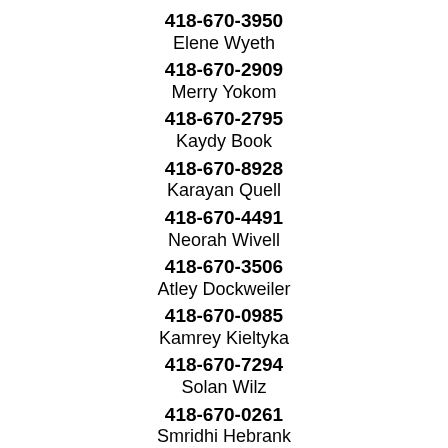418-670-3950
Elene Wyeth
418-670-2909
Merry Yokom
418-670-2795
Kaydy Book
418-670-8928
Karayan Quell
418-670-4491
Neorah Wivell
418-670-3506
Atley Dockweiler
418-670-0985
Kamrey Kieltyka
418-670-7294
Solan Wilz
418-670-0261
Smridhi Hebrank